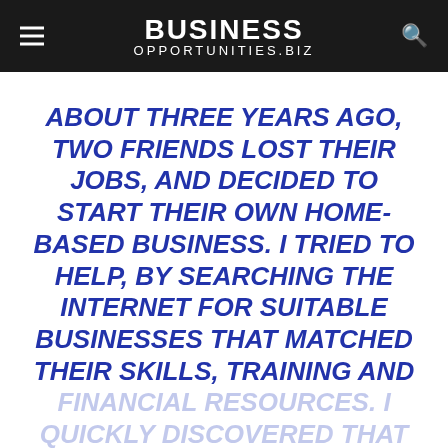BUSINESS OPPORTUNITIES.BIZ
ABOUT THREE YEARS AGO, TWO FRIENDS LOST THEIR JOBS, AND DECIDED TO START THEIR OWN HOME-BASED BUSINESS. I TRIED TO HELP, BY SEARCHING THE INTERNET FOR SUITABLE BUSINESSES THAT MATCHED THEIR SKILLS, TRAINING AND FINANCIAL RESOURCES. I QUICKLY DISCOVERED THAT THERE WAS A